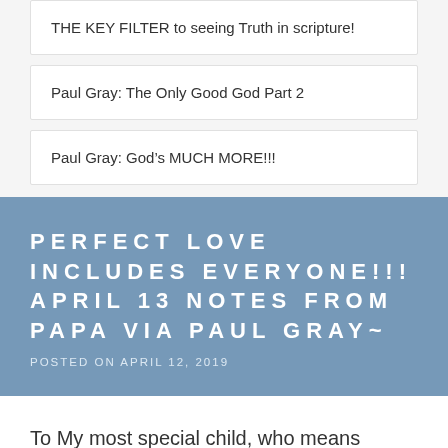THE KEY FILTER to seeing Truth in scripture!
Paul Gray: The Only Good God Part 2
Paul Gray: God’s MUCH MORE!!!
PERFECT LOVE INCLUDES EVERYONE!!! APRIL 13 NOTES FROM PAPA VIA PAUL GRAY~
POSTED ON APRIL 12, 2019
To My most special child, who means everything to Me,